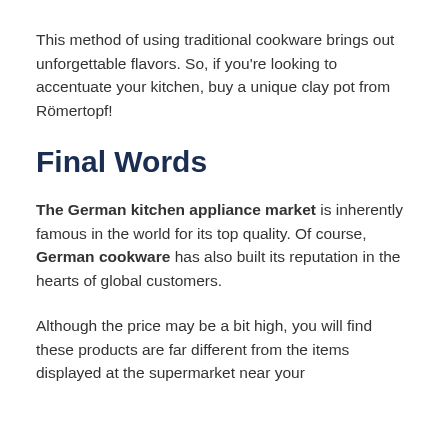This method of using traditional cookware brings out unforgettable flavors. So, if you're looking to accentuate your kitchen, buy a unique clay pot from Römertopf!
Final Words
The German kitchen appliance market is inherently famous in the world for its top quality. Of course, German cookware has also built its reputation in the hearts of global customers.
Although the price may be a bit high, you will find these products are far different from the items displayed at the supermarket near your home. If you want to...